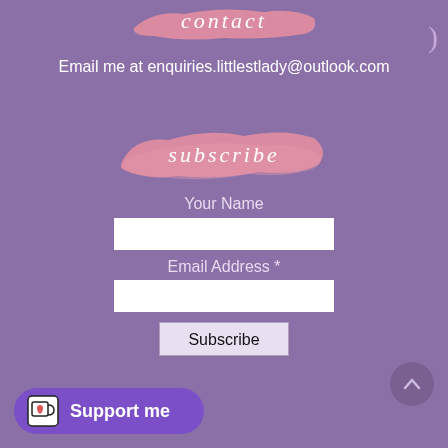contact
Email me at enquiries.littlestlady@outlook.com
subscribe
Your Name
Email Address *
Subscribe
Support me